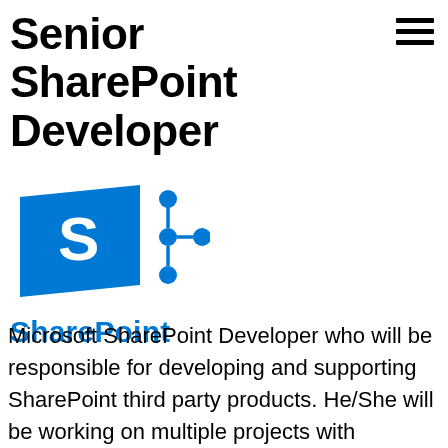Senior SharePoint Developer
[Figure (logo): Microsoft SharePoint logo: blue angled rectangle with white 'S' letter and blue network/share icon to the right, with 'SharePoint' text in blue below]
Microsoft SharePoint Developer who will be responsible for developing and supporting SharePoint third party products. He/She will be working on multiple projects with overseas clients.